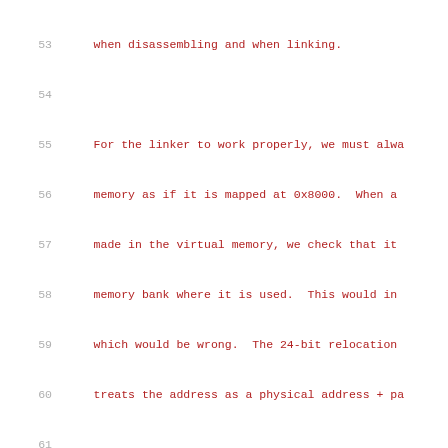53    when disassembling and when linking.
54
55    For the linker to work properly, we must alwa
56    memory as if it is mapped at 0x8000.  When a
57    made in the virtual memory, we check that it
58    memory bank where it is used.  This would in
59    which would be wrong.  The 24-bit relocation
60    treats the address as a physical address + pa
61
62
63                                        Banked
64                                        Address
65                                        |
66                                        +------
67                                        |
68                                        | jsr _
69                                        | ..
70                                        | _foo:
71                                        +------
72                                        |
73                                        | call
74                                        |